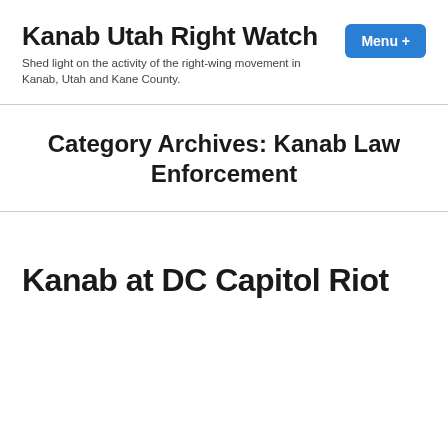Kanab Utah Right Watch
Shed light on the activity of the right-wing movement in Kanab, Utah and Kane County.
Category Archives: Kanab Law Enforcement
Kanab at DC Capitol Riot